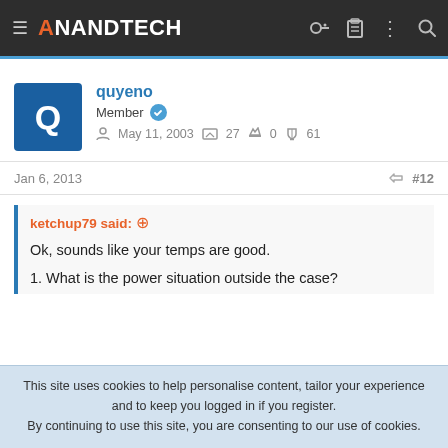AnandTech
quyeno
Member
May 11, 2003  27  0  61
Jan 6, 2013  #12
ketchup79 said:
Ok, sounds like your temps are good.
1. What is the power situation outside the case?
This site uses cookies to help personalise content, tailor your experience and to keep you logged in if you register.
By continuing to use this site, you are consenting to our use of cookies.